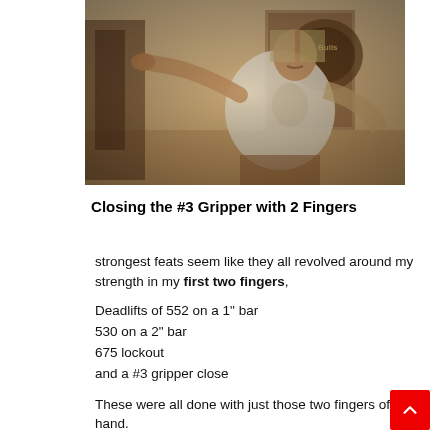[Figure (photo): Sepia-toned vintage photograph of a muscular man in a white t-shirt demonstrating a grip or strength feat, standing in what appears to be a gym or workshop]
Closing the #3 Gripper with 2 Fingers
strongest feats seem like they all revolved around my strength in my first two fingers, Deadlifts of 552 on a 1" bar 530 on a 2" bar 675 lockout and a #3 gripper close
These were all done with just those two fingers of each hand.
My supporting power was also good with a non strap assisted lockout with 1331lbs. If anything good came of this book please pass on the interest in Grippers, and credit to